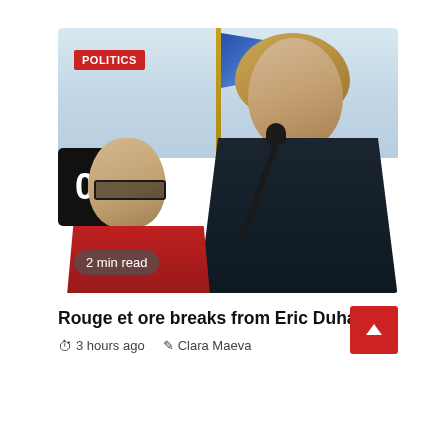[Figure (photo): Two men at an outdoor event. On the right, a tall man with long blond hair speaks at a microphone, wearing a dark jacket. On the left, an older man with glasses and a red jacket stands behind. A Quebec flag is visible in the background. A sign with '03' is visible on the left side. A 'POLITICS' badge and '2 min read' overlay are shown.]
Rouge et ore breaks from Eric Duhaime
3 hours ago   Clara Maeva